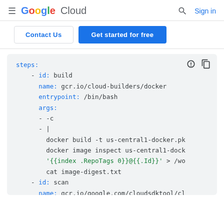Google Cloud — Sign in
Contact Us | Get started for free
[Figure (screenshot): A code block showing a Google Cloud Build YAML configuration with steps for build and scan, using Docker commands and entrypoints.]